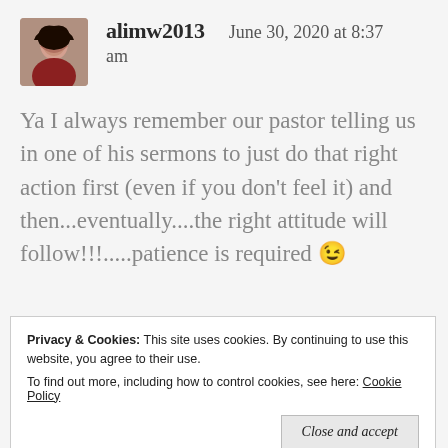alimw2013   June 30, 2020 at 8:37 am
Ya I always remember our pastor telling us in one of his sermons to just do that right action first (even if you don't feel it) and then...eventually....the right attitude will follow!!!.....patience is required 😉
Privacy & Cookies: This site uses cookies. By continuing to use this website, you agree to their use.
To find out more, including how to control cookies, see here: Cookie Policy
Close and accept